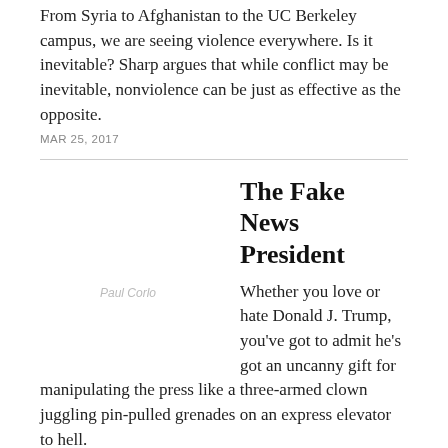From Syria to Afghanistan to the UC Berkeley campus, we are seeing violence everywhere. Is it inevitable? Sharp argues that while conflict may be inevitable, nonviolence can be just as effective as the opposite.
MAR 25, 2017
The Fake News President
Whether you love or hate Donald J. Trump, you've got to admit he's got an uncanny gift for manipulating the press like a three-armed clown juggling pin-pulled grenades on an express elevator to hell.
MAR 25, 2017
Christians and Donald